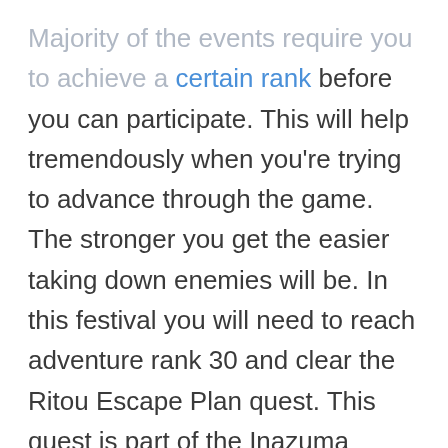Majority of the events require you to achieve a certain rank before you can participate. This will help tremendously when you're trying to advance through the game. The stronger you get the easier taking down enemies will be. In this festival you will need to reach adventure rank 30 and clear the Ritou Escape Plan quest. This quest is part of the Inazuma Archon quest line.
In order to unlock the quest, once you've acquired everything you need to beat it, Head over to Ritou where you will start the quest and a cutscene will appear. You'll then want to go to Amakane Island, which is near Inazuma City. As